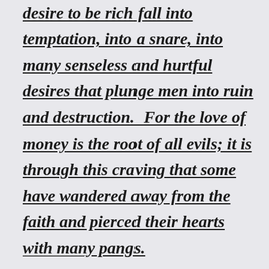desire to be rich fall into temptation, into a snare, into many senseless and hurtful desires that plunge men into ruin and destruction.  For the love of money is the root of all evils; it is through this craving that some have wandered away from the faith and pierced their hearts with many pangs.